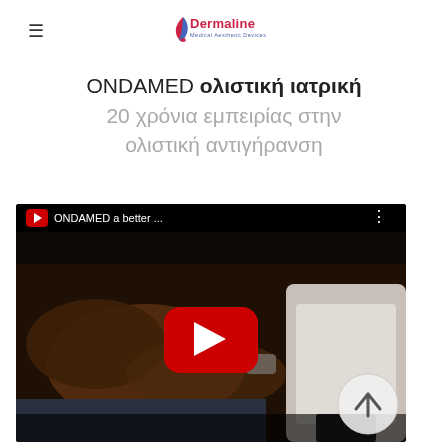Dermaline Medical Aesthetic Devices
ONDAMED ολιστική ιατρική 20 χρόνια εμπειρίας στην ολιστική αντιγήρανση
[Figure (screenshot): YouTube video embed showing ONDAMED a better... with a medical professional using a device on a patient's arm. Red YouTube play button in center. Scroll-to-top arrow button in bottom right.]